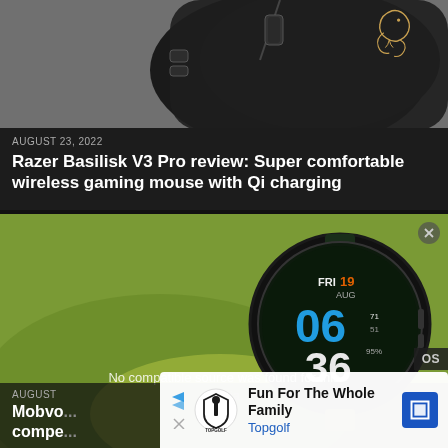[Figure (photo): Close-up photo of a black Razer Basilisk V3 Pro gaming mouse on a gray textured surface, showing the Razer snake logo in gold on the back.]
AUGUST 23, 2022
Razer Basilisk V3 Pro review: Super comfortable wireless gaming mouse with Qi charging
[Figure (screenshot): Photo of a smartwatch (Mobvoi TicWatch) showing watch face with FRI 19 AUG, time 06:36 PM, and other stats, resting on a green tennis ball. A video overlay message reads: No compatible source was found for this media.]
AUGUST
Mobvo... compe...
No compatible source was found for this media.
[Figure (logo): Topgolf advertisement banner: Fun For The Whole Family — Topgolf, with Topgolf logo and navigation arrow icon.]